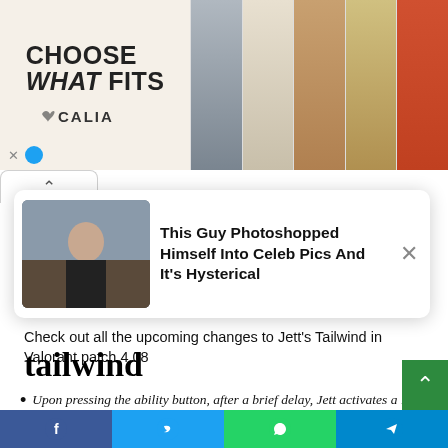[Figure (screenshot): Advertisement banner for CALIA brand showing 'CHOOSE WHAT FITS' text on left with female models in swimwear on right]
[Figure (screenshot): Popup card with thumbnail photo of man and title 'This Guy Photoshopped Himself Into Celeb Pics And It's Hysterical' with X close button]
Check out all the upcoming changes to Jett's Tailwind in Valorant patch 4.08
tailwind
Upon pressing the ability button, after a brief delay, Jett activates a 12-second window, empowering her to instantly sprint on the next button press.
Her Tailwind charge is lost whether she runs out Dashs or the window, but can still be regained with two kills.
[Figure (screenshot): Social media sharing bar with Facebook, Twitter, WhatsApp, and Telegram buttons]